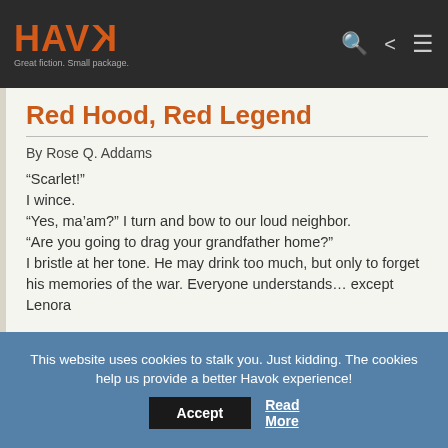HAVOK — Great fiction. Small package.
Red Hood, Red Legend
By Rose Q. Addams
“Scarlet!”
I wince.
“Yes, ma’am?” I turn and bow to our loud neighbor.
“Are you going to drag your grandfather home?”
I bristle at her tone. He may drink too much, but only to forget his memories of the war. Everyone understands… except Lenora
This website uses cookies to stalk you. Just kidding. The cookies help us provide a better Havok experience!
Accept
Read More